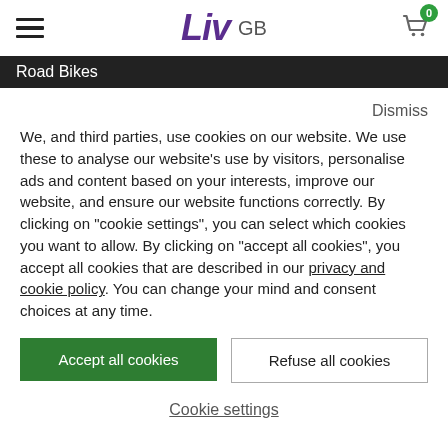Liv GB | Cart 0
Road Bikes
Dismiss
We, and third parties, use cookies on our website. We use these to analyse our website's use by visitors, personalise ads and content based on your interests, improve our website, and ensure our website functions correctly. By clicking on "cookie settings", you can select which cookies you want to allow. By clicking on "accept all cookies", you accept all cookies that are described in our privacy and cookie policy. You can change your mind and consent choices at any time.
Accept all cookies
Refuse all cookies
Cookie settings